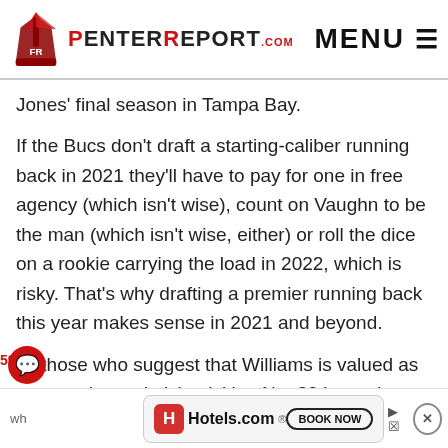PenterReport.com MENU
Jones' final season in Tampa Bay.
If the Bucs don't draft a starting-caliber running back in 2021 they'll have to pay for one in free agency (which isn't wise), count on Vaughn to be the man (which isn't wise, either) or roll the dice on a rookie carrying the load in 2022, which is risky. That's why drafting a premier running back this year makes sense in 2021 and beyond.
To those who suggest that Williams is valued as a second-round pick, picking No. 32 is as close to the second-round as you can get. He won't be around wh
[Figure (screenshot): Hotels.com advertisement banner with BOOK NOW button]